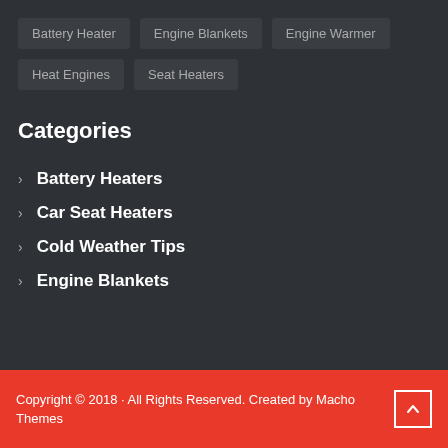Battery Heater
Engine Blankets
Engine Warmer
Heat Engines
Seat Heaters
Categories
Battery Heaters
Car Seat Heaters
Cold Weather Tips
Engine Blankets
Copyright © 2018 · All Rights Reserved. Created by Macho Themes